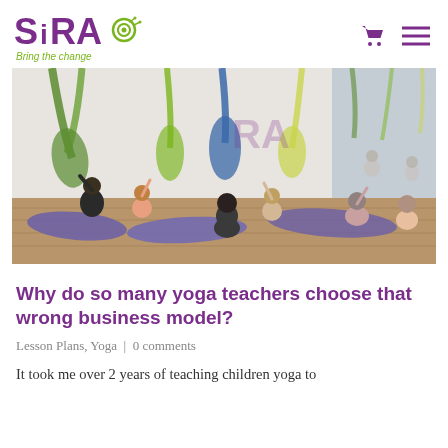SiRA – Bring the change (logo) | cart icon | menu icon
[Figure (photo): Children's yoga class in a studio with aerial silk hammocks hanging from the ceiling. Multiple children sit cross-legged on purple yoga mats with one hand raised. A teacher sits with them. Mirrors on the right wall reflect the scene. The hammocks are green, blue, and yellow.]
Why do so many yoga teachers choose that wrong business model?
Lesson Plans, Yoga | 0 comments
It took me over 2 years of teaching children yoga to